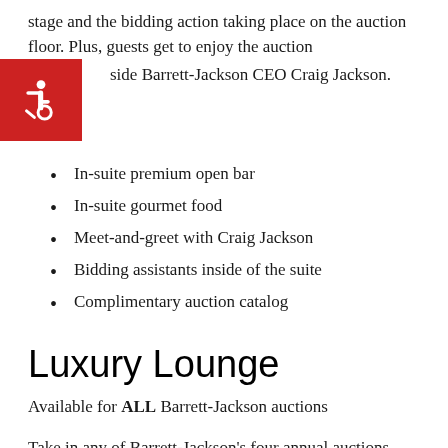stage and the bidding action taking place on the auction floor. Plus, guests get to enjoy the auction aside Barrett-Jackson CEO Craig Jackson.
[Figure (other): Red square accessibility icon with wheelchair symbol]
In-suite premium open bar
In-suite gourmet food
Meet-and-greet with Craig Jackson
Bidding assistants inside of the suite
Complimentary auction catalog
Luxury Lounge
Available for ALL Barrett-Jackson auctions
Take in any of Barrett-Jackson's four annual auctions from the Luxury Lounge, a lifted hospitality space